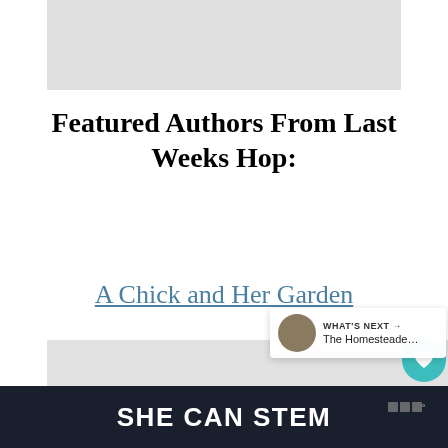[Figure (other): Gray placeholder image at the top]
Featured Authors From Last Weeks Hop:
A Chick and Her Garden
[Figure (photo): Large gray placeholder image below the link]
SHE CAN STEM